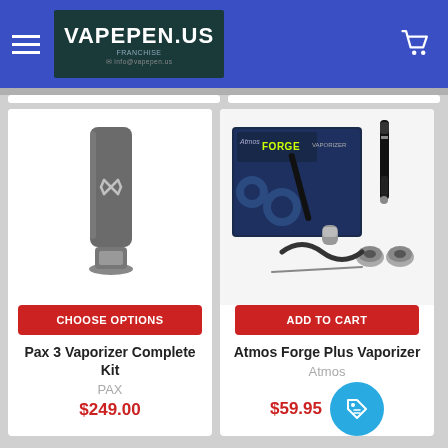VapePen.us
[Figure (photo): Pax 3 Vaporizer Complete Kit product image]
CHOOSE OPTIONS
Pax 3 Vaporizer Complete Kit
PAX
$249.00
[Figure (photo): Atmos Forge Plus Vaporizer product image with box and accessories]
ADD TO CART
Atmos Forge Plus Vaporizer
Atmos
$59.95